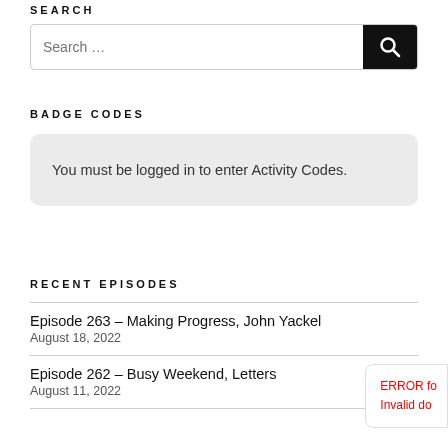SEARCH
[Figure (screenshot): Search input box with a black search button containing a magnifying glass icon]
BADGE CODES
You must be logged in to enter Activity Codes.
RECENT EPISODES
Episode 263 – Making Progress, John Yackel
August 18, 2022
Episode 262 – Busy Weekend, Letters
August 11, 2022
ERROR fo
Invalid do